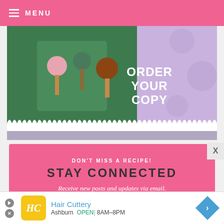MENU
[Figure (illustration): Book advertisement banner with purple polka dot background showing cake pops book with Christmas decorations, text 'ORDER YOUR COPY' on right side, white lace border at bottom]
DON'T MISS A RECIPE!
STAY CONNECTED
Receive new posts and updates via email.
email address
SUBSCRIBE
[Figure (infographic): Hair Cuttery advertisement banner showing logo, business name, location Ashburn, OPEN 8AM-8PM]